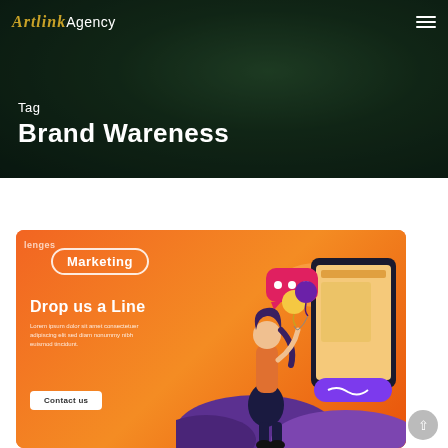Artlink Agency
Tag
Brand Wareness
[Figure (illustration): Marketing agency website screenshot showing 'Drop us a Line' contact section with orange background, a woman character holding balloons and a smartphone, a pill-shaped 'Marketing' label, lorem ipsum body text, and a 'Contact us' button]
lenges
Marketing
Drop us a Line
Lorem ipsum dolor sit amet consectetuer adipiscing elit sed diam nonummy nibh euismod tincidunt.
Contact us